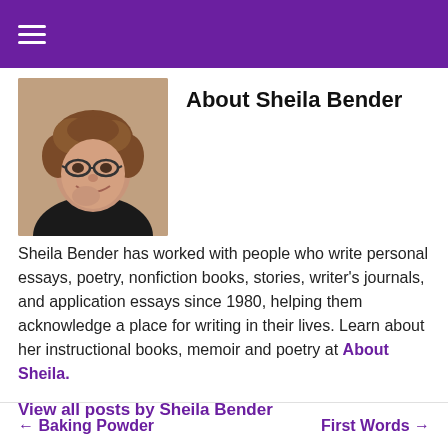≡ (navigation menu)
About Sheila Bender
[Figure (photo): Headshot photo of Sheila Bender, a woman with short curly brown hair and glasses, resting her chin on her hand, smiling.]
Sheila Bender has worked with people who write personal essays, poetry, nonfiction books, stories, writer's journals, and application essays since 1980, helping them acknowledge a place for writing in their lives. Learn about her instructional books, memoir and poetry at About Sheila.
View all posts by Sheila Bender
← Baking Powder    First Words →